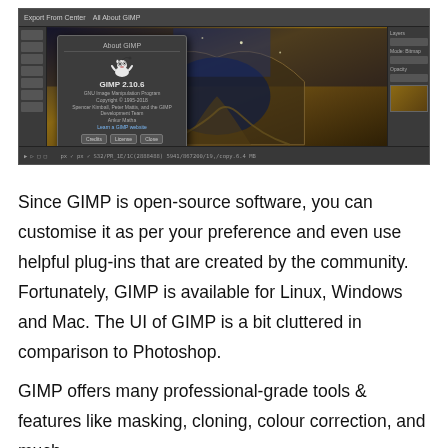[Figure (screenshot): GIMP 2.10.6 application window screenshot showing the About GIMP dialog box overlaid on a canvas with an architectural night scene. The interface shows the dark-themed GIMP UI with toolbars, panels, and an About dialog displaying the GIMP version, credits, and buttons.]
Since GIMP is open-source software, you can customise it as per your preference and even use helpful plug-ins that are created by the community. Fortunately, GIMP is available for Linux, Windows and Mac. The UI of GIMP is a bit cluttered in comparison to Photoshop.
GIMP offers many professional-grade tools & features like masking, cloning, colour correction, and much